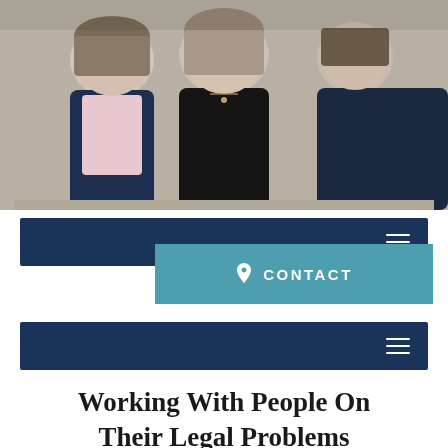[Figure (photo): Group photo of three people (two women and one man) posing together; the woman on the left wears a pink shirt and dark blazer, the woman in the center wears an all-black outfit, and the man on the right wears a dark suit.]
[Figure (screenshot): Dark navy navigation bar with a hamburger menu icon on the right side.]
[Figure (infographic): Teal/cyan rectangular CONTACT button with a map pin icon on the left.]
[Figure (screenshot): Second dark navy navigation bar with a hamburger menu icon on the right side.]
Working With People On Their Legal Problems